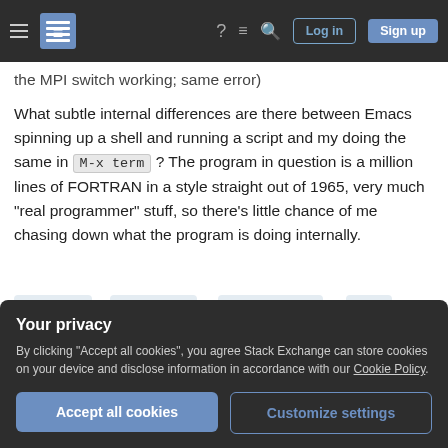Stack Exchange navigation bar with hamburger menu, logo, help, chat, search icons, Log in and Sign up buttons
the MPI switch working; same error)
What subtle internal differences are there between Emacs spinning up a shell and running a script and my doing the same in M-x term ? The program in question is a million lines of FORTRAN in a style straight out of 1965, very much "real programmer" stuff, so there's little chance of me chasing down what the program is doing internally.
debugging
major-mode
shell-command
linux
Your privacy
By clicking "Accept all cookies", you agree Stack Exchange can store cookies on your device and disclose information in accordance with our Cookie Policy.
Accept all cookies
Customize settings